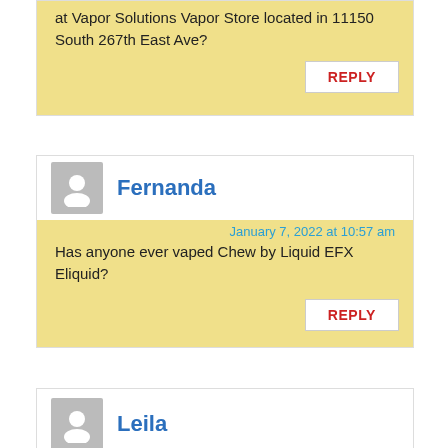at Vapor Solutions Vapor Store located in 11150 South 267th East Ave?
REPLY
Fernanda
January 7, 2022 at 10:57 am
Has anyone ever vaped Chew by Liquid EFX Eliquid?
REPLY
Leila